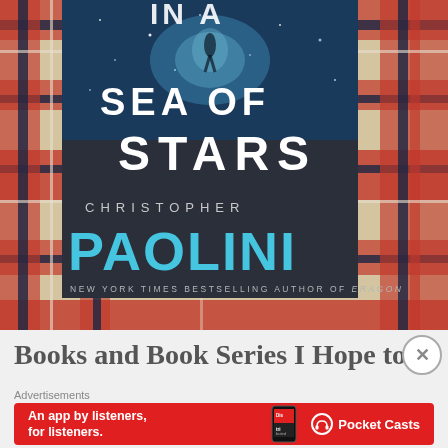[Figure (photo): A photograph of the book 'To a Sea of Stars' by Christopher Paolini, showing the book cover with title text and author name in large white/teal letters on a dark space-themed background. The book is placed on a red, navy, and cream plaid fabric. The cover reads: IN A SEA OF STARS, CHRISTOPHER PAOLINI, NEW YORK TIMES BESTSELLING AUTHOR OF ERAGON.]
Books and Book Series I Hope to
Advertisements
[Figure (screenshot): Advertisement banner for Pocket Casts app. Red background with white text: 'An app by listeners, for listeners.' Shows a smartphone with 'Distributed' text on screen. Pocket Casts logo with headphone icon on right side.]